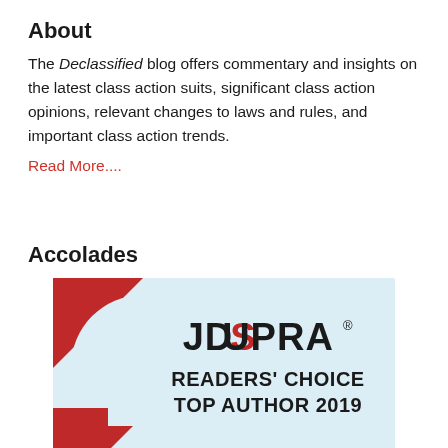About
The Declassified blog offers commentary and insights on the latest class action suits, significant class action opinions, relevant changes to laws and rules, and important class action trends.
Read More....
Accolades
[Figure (logo): JD Supra Readers' Choice Top Author 2019 badge — light blue circular badge with JDSupra logo and red accent shapes]